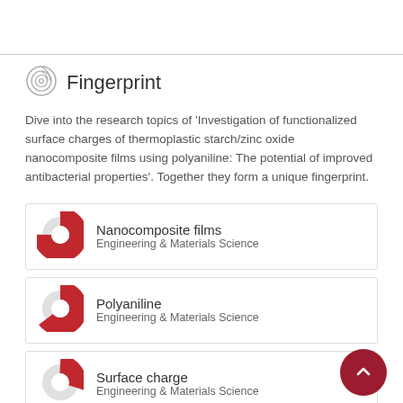Fingerprint
Dive into the research topics of 'Investigation of functionalized surface charges of thermoplastic starch/zinc oxide nanocomposite films using polyaniline: The potential of improved antibacterial properties'. Together they form a unique fingerprint.
Nanocomposite films
Engineering & Materials Science
Polyaniline
Engineering & Materials Science
Surface charge
Engineering & Materials Science